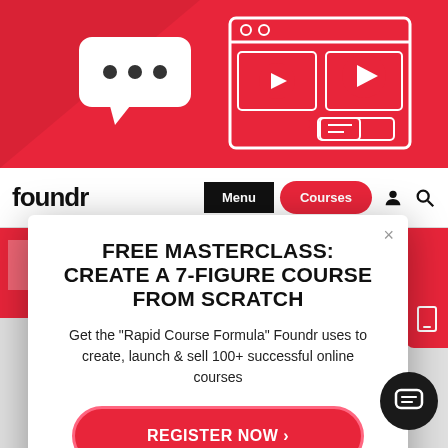[Figure (illustration): Red banner header with illustration of speech bubbles, video play buttons, and a browser/monitor graphic on a red background]
[Figure (screenshot): Navigation bar with foundr logo, Menu button (black), Courses button (red rounded), user icon, and search icon]
[Figure (screenshot): Modal popup overlay on website with close button, title, subtitle text, register button, and no thanks link]
FREE MASTERCLASS: CREATE A 7-FIGURE COURSE FROM SCRATCH
Get the "Rapid Course Formula" Foundr uses to create, launch & sell 100+ successful online courses
REGISTER NOW >
NO THANKS, I'M NOT INTERESTED >